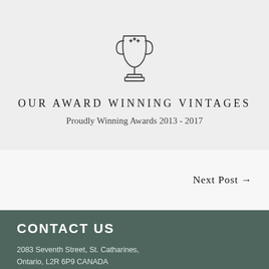[Figure (illustration): Line drawing of a trophy/cup award icon]
OUR AWARD WINNING VINTAGES
Proudly Winning Awards 2013 - 2017
Next Post →
CONTACT US
2083 Seventh Street, St. Catharines, Ontario, L2R 6P9 CANADA
(905) 687-8965
info@linenevintages...